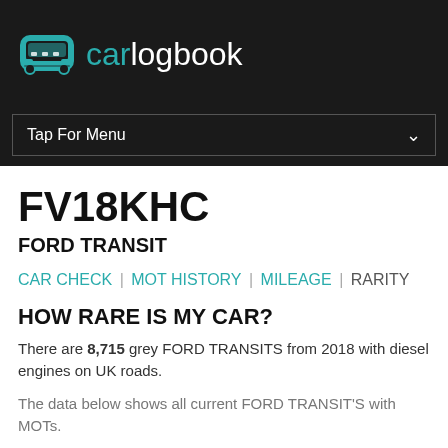carlogbook
Tap For Menu
FV18KHC
FORD TRANSIT
CAR CHECK | MOT HISTORY | MILEAGE | RARITY
HOW RARE IS MY CAR?
There are 8,715 grey FORD TRANSITS from 2018 with diesel engines on UK roads.
The data below shows all current FORD TRANSIT'S with MOTs.
HOW MANY 2018 FORD TRANSITS ARE LEFT?